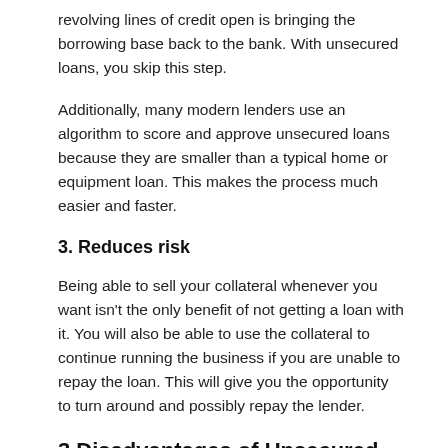revolving lines of credit open is bringing the borrowing base back to the bank. With unsecured loans, you skip this step.
Additionally, many modern lenders use an algorithm to score and approve unsecured loans because they are smaller than a typical home or equipment loan. This makes the process much easier and faster.
3. Reduces risk
Being able to sell your collateral whenever you want isn't the only benefit of not getting a loan with it. You will also be able to use the collateral to continue running the business if you are unable to repay the loan. This will give you the opportunity to turn around and possibly repay the lender.
3 Disadvantages of Unsecured Business Loans